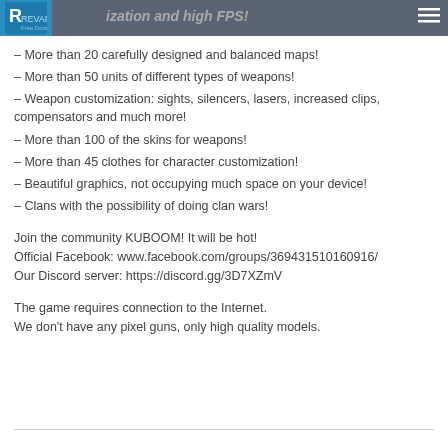RevAPK Free Download
…ization and high FPS!
– More than 20 carefully designed and balanced maps!
– More than 50 units of different types of weapons!
– Weapon customization: sights, silencers, lasers, increased clips, compensators and much more!
– More than 100 of the skins for weapons!
– More than 45 clothes for character customization!
– Beautiful graphics, not occupying much space on your device!
– Clans with the possibility of doing clan wars!
Join the community KUBOOM! It will be hot!
Official Facebook: www.facebook.com/groups/369431510160916/
Our Discord server: https://discord.gg/3D7XZmV
The game requires connection to the Internet.
We don't have any pixel guns, only high quality models.